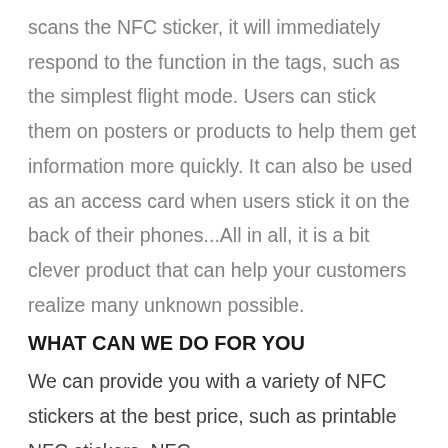scans the NFC sticker, it will immediately respond to the function in the tags, such as the simplest flight mode. Users can stick them on posters or products to help them get information more quickly. It can also be used as an access card when users stick it on the back of their phones...All in all, it is a bit clever product that can help your customers realize many unknown possible.
WHAT CAN WE DO FOR YOU
We can provide you with a variety of NFC stickers at the best price, such as printable NFC stickers, NFC